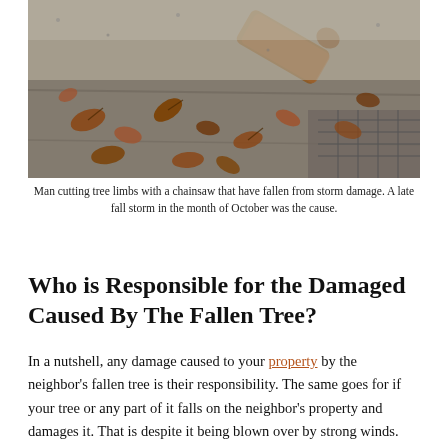[Figure (photo): Close-up photo of fallen tree limbs and autumn leaves on a concrete or stone surface, with a piece of cut wood visible.]
Man cutting tree limbs with a chainsaw that have fallen from storm damage. A late fall storm in the month of October was the cause.
Who is Responsible for the Damaged Caused By The Fallen Tree?
In a nutshell, any damage caused to your property by the neighbor's fallen tree is their responsibility. The same goes for if your tree or any part of it falls on the neighbor's property and damages it. That is despite it being blown over by strong winds. You will need to file a claim with the neighbor's insurance company to get reimbursed for the loss.